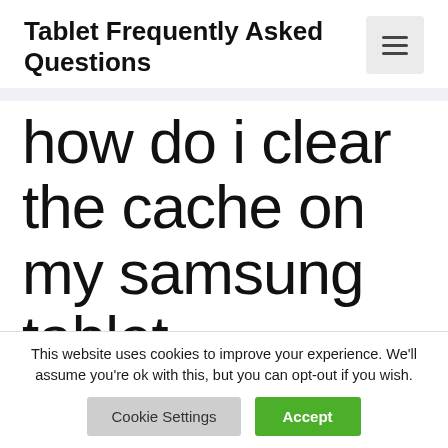Tablet Frequently Asked Questions
how do i clear the cache on my samsung tablet
This website uses cookies to improve your experience. We'll assume you're ok with this, but you can opt-out if you wish.